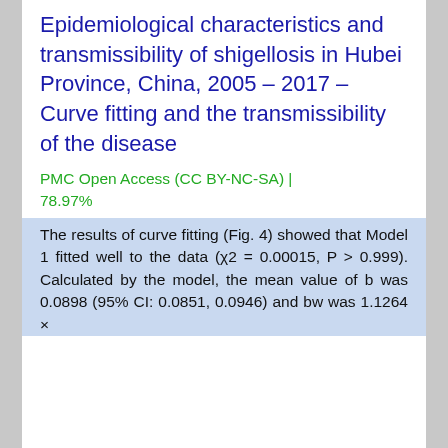Epidemiological characteristics and transmissibility of shigellosis in Hubei Province, China, 2005 – 2017 – Curve fitting and the transmissibility of the disease
PMC Open Access (CC BY-NC-SA) | 78.97%
The results of curve fitting (Fig. 4) showed that Model 1 fitted well to the data (χ2 = 0.00015, P > 0.999). Calculated by the model, the mean value of b was 0.0898 (95% CI: 0.0851, 0.0946) and bw was 1.1264 ×